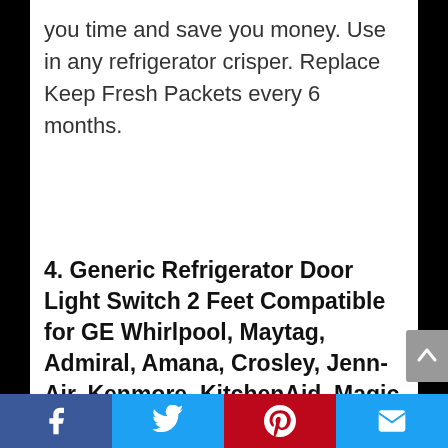you time and save you money. Use in any refrigerator crisper. Replace Keep Fresh Packets every 6 months.
4. Generic Refrigerator Door Light Switch 2 Feet Compatible for GE Whirlpool, Maytag, Admiral, Amana, Crosley, Jenn-Air, Kenmore, KitchenAid, Magic Chef 2 PCS
[Figure (photo): Partial view of refrigerator door light switch product at bottom of page]
[Figure (other): Scroll-to-top button on right side]
Facebook | Twitter | Pinterest | Email social share bar